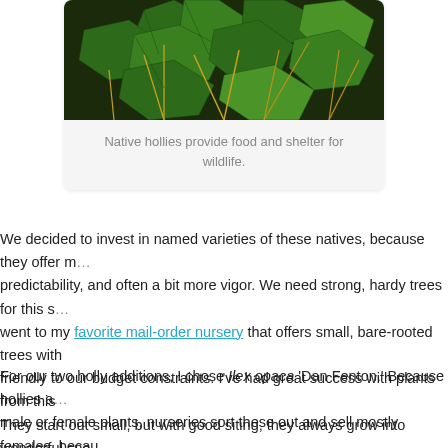[Figure (photo): Close-up photo of green holly leaves with spiky edges and golden stems/twigs in the background]
Native hollies provide food and shelter for wildlife.
We decided to invest in named varieties of these natives, because they offer more predictability, and often a bit more vigor. We need strong, hardy trees for this site. went to my favorite mail-order nursery that offers small, bare-rooted trees with friendly to our budget constraints. I've had great success with plants from this They start out small, but with good siting, they always grow into wonderful spe few years.
For our two holly additions, I chose Ilex opaca 'Dan Fenton.' Because hollies a male or female plants, nurseries sort these out and sell mostly females, becau the ones that produce berries. If you don't have male hollies growing nearby, y